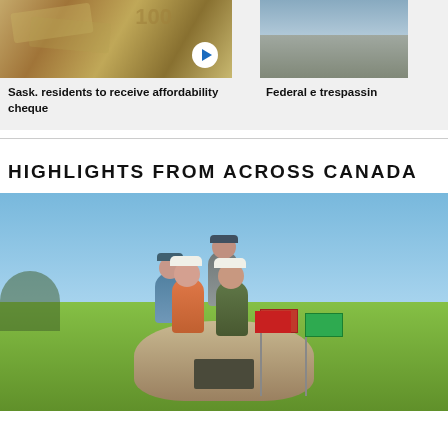[Figure (photo): Thumbnail of hands holding Canadian $100 bills with a play button overlay]
Sask. residents to receive affordability cheque
[Figure (photo): Partial thumbnail of a farm/field scene, partially cropped]
Federal e trespassin
HIGHLIGHTS FROM ACROSS CANADA
[Figure (photo): Four people sitting on a large rock monument with a plaque, Canadian provincial flags (Manitoba and green flag) visible, blue sky and green field in background]